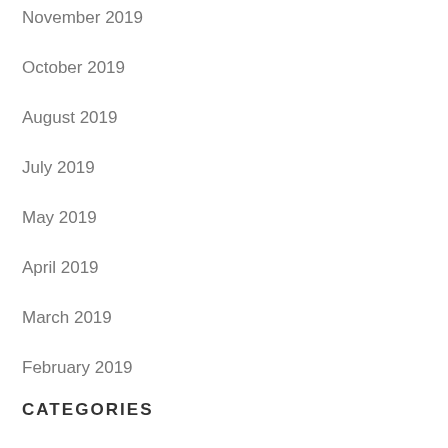November 2019
October 2019
August 2019
July 2019
May 2019
April 2019
March 2019
February 2019
CATEGORIES
Business
Finance